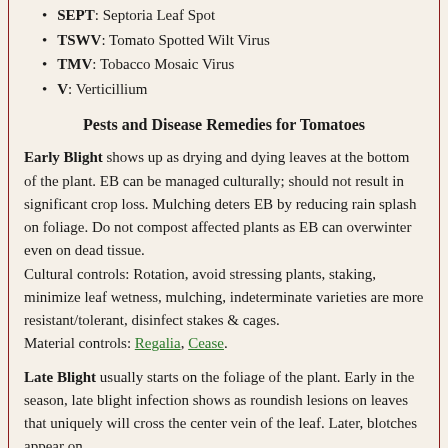SEPT: Septoria Leaf Spot
TSWV: Tomato Spotted Wilt Virus
TMV: Tobacco Mosaic Virus
V: Verticillium
Pests and Disease Remedies for Tomatoes
Early Blight shows up as drying and dying leaves at the bottom of the plant. EB can be managed culturally; should not result in significant crop loss. Mulching deters EB by reducing rain splash on foliage. Do not compost affected plants as EB can overwinter even on dead tissue.
Cultural controls: Rotation, avoid stressing plants, staking, minimize leaf wetness, mulching, indeterminate varieties are more resistant/tolerant, disinfect stakes & cages.
Material controls: Regalia, Cease.
Late Blight usually starts on the foliage of the plant. Early in the season, late blight infection shows as roundish lesions on leaves that uniquely will cross the center vein of the leaf. Later, blotches appear on